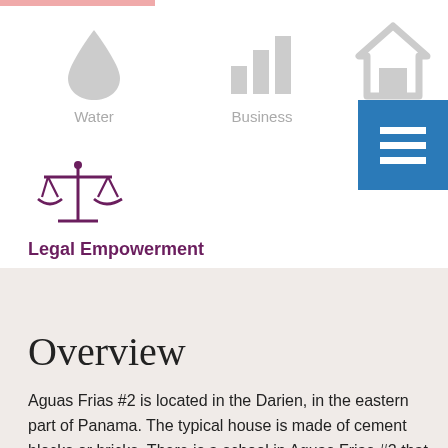[Figure (infographic): Water icon (drop shape) in gray with label 'Water' below]
[Figure (infographic): Business icon (bar chart shape) in gray with label 'Business' below]
[Figure (infographic): Public icon (house/building shape) in gray with label 'Public' below, partially obscured by blue menu button]
[Figure (infographic): Blue hamburger menu button with three white horizontal lines]
[Figure (illustration): Legal scales icon in dark purple/maroon color]
Legal Empowerment
Overview
Aguas Frias #2 is located in the Darien, in the eastern part of Panama. The typical house is made of cement blocks or bricks. There is a school in Aguas Frias #2 that offers kindergarten to 9th grade. For high school, children must travel to a different community. Most...